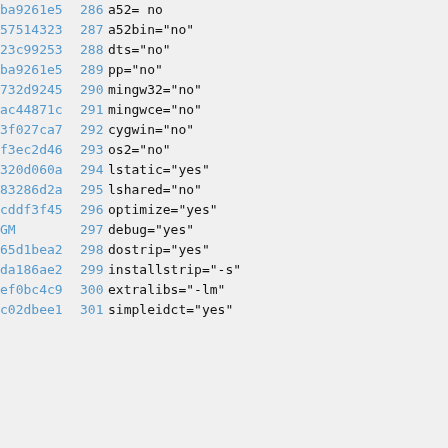| hash | line | code |
| --- | --- | --- |
| ba9261e5 | 286 | a52= no |
| 57514323 | 287 | a52bin="no" |
| 23c99253 | 288 | dts="no" |
| ba9261e5 | 289 | pp="no" |
| 732d9245 | 290 | mingw32="no" |
| ac44871c | 291 | mingwce="no" |
| 3f027ca7 | 292 | cygwin="no" |
| f3ec2d46 | 293 | os2="no" |
| 320d060a | 294 | lstatic="yes" |
| 83286d2a | 295 | lshared="no" |
| cddf3f45 | 296 | optimize="yes" |
| GM | 297 | debug="yes" |
| 65d1bea2 | 298 | dostrip="yes" |
| da186ae2 | 299 | installstrip="-s" |
| ef0bc4c9 | 300 | extralibs="-lm" |
| c02dbee1 | 301 | simpleidct="yes" |